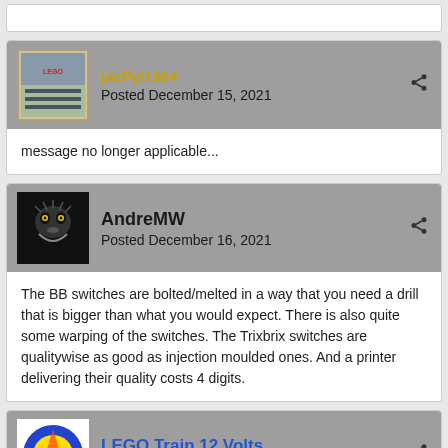jacPyl1904
Posted December 15, 2021
message no longer applicable...
AndreMW
Posted December 16, 2021
The BB switches are bolted/melted in a way that you need a drill that is bigger than what you would expect. There is also quite some warping of the switches. The Trixbrix switches are qualitywise as good as injection moulded ones. And a printer delivering their quality costs 4 digits.
LEGO Train 12 Volts
Posted December 16, 2021